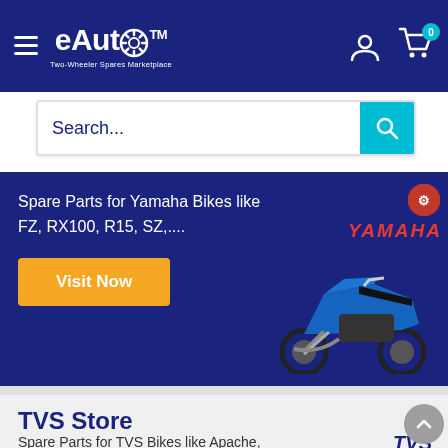eAuto™ Two-Wheeler Spares Marketplace
Search...
[Figure (screenshot): Yamaha store banner: blue background with Yamaha motorcycle image, Yamaha logo in red italic, text 'Spare Parts for Yamaha Bikes like FZ, RX100, R15, SZ,....' and orange Visit Now button]
TVS Store
Spare Parts for TVS Bikes like Apache, Scooty, Victor, Star Sport....